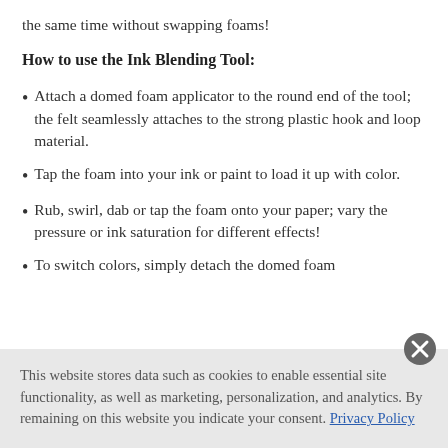the same time without swapping foams!
How to use the Ink Blending Tool:
Attach a domed foam applicator to the round end of the tool; the felt seamlessly attaches to the strong plastic hook and loop material.
Tap the foam into your ink or paint to load it up with color.
Rub, swirl, dab or tap the foam onto your paper; vary the pressure or ink saturation for different effects!
To switch colors, simply detach the domed foam applicator from and then attach another color-loaded…
This website stores data such as cookies to enable essential site functionality, as well as marketing, personalization, and analytics. By remaining on this website you indicate your consent. Privacy Policy